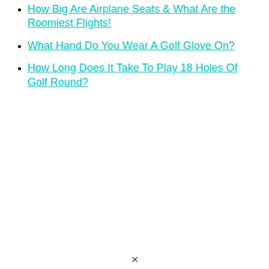How Big Are Airplane Seats & What Are the Roomiest Flights!
What Hand Do You Wear A Golf Glove On?
How Long Does It Take To Play 18 Holes Of Golf Round?